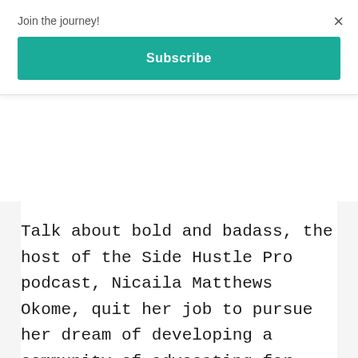Join the journey!
Subscribe
×
Talk about bold and badass, the host of the Side Hustle Pro podcast, Nicaila Matthews Okome, quit her job to pursue her dream of developing a community of advocating for black female entrepreneurs.
The Side Hustle Pro podcast